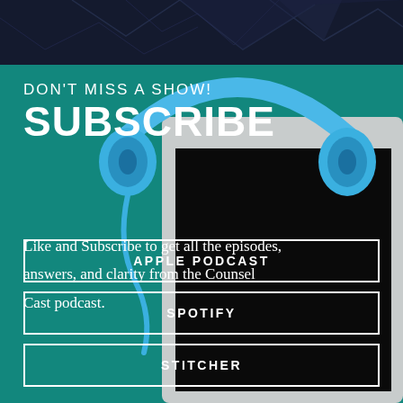[Figure (illustration): Dark navy top band with geometric white line decorations forming triangle/polygon shapes]
[Figure (photo): Blue over-ear headphones resting on a white tablet/laptop on a dark background, right side of image]
DON'T MISS A SHOW! SUBSCRIBE
Like and Subscribe to get all the episodes, answers, and clarity from the Counsel Cast podcast.
APPLE PODCAST
SPOTIFY
STITCHER